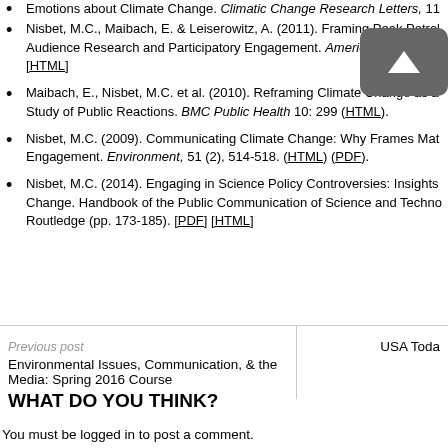Emotions about Climate Change. Climatic Change Research Letters, 11...
Nisbet, M.C., Maibach, E. & Leiserowitz, A. (2011). Framing Peak Petrol... Audience Research and Participatory Engagement. American Journal o... [HTML]
Maibach, E., Nisbet, M.C. et al. (2010). Reframing Climate Change as a... Study of Public Reactions. BMC Public Health 10: 299 (HTML).
Nisbet, M.C. (2009). Communicating Climate Change: Why Frames Mat... Engagement. Environment, 51 (2), 514-518. (HTML) (PDF).
Nisbet, M.C. (2014). Engaging in Science Policy Controversies: Insights... Change. Handbook of the Public Communication of Science and Techno... Routledge (pp. 173-185). [PDF] [HTML]
Previous post
Environmental Issues, Communication, & the Media: Spring 2016 Course
USA Toda...
WHAT DO YOU THINK?
You must be logged in to post a comment.